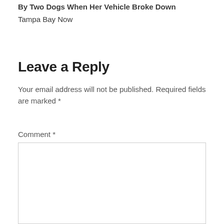By Two Dogs When Her Vehicle Broke Down
Tampa Bay Now
Leave a Reply
Your email address will not be published. Required fields are marked *
Comment *